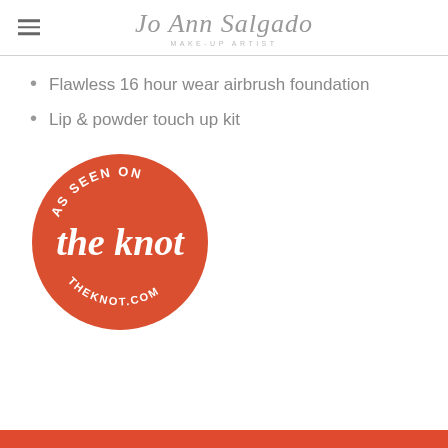Jo Ann Salgado MAKE-UP ARTIST
Flawless 16 hour wear airbrush foundation
Lip & powder touch up kit
[Figure (logo): Red circular badge with white text reading AS SEEN ON the knot THEKNOT.COM]